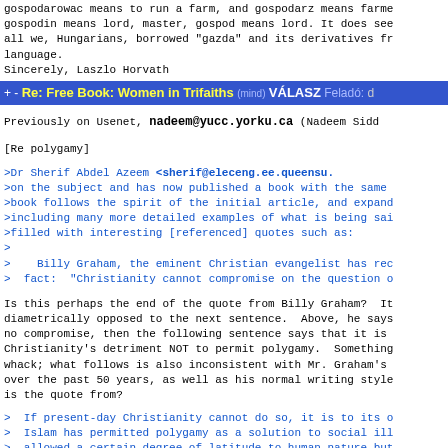gospodarowac means to run a farm, and gospodarz means farme
gospodin means lord, master, gospod means lord. It does see
all we, Hungarians, borrowed "gazda" and its derivatives fr
language.
Sincerely, Laszlo Horvath
+ - Re: Free Book: Women in Trifaiths (mind) VÁLASZ Feladó: d
Previously on Usenet, nadeem@yucc.yorku.ca (Nadeem Sidd
[Re polygamy]
>Dr Sherif Abdel Azeem &lt;sherif@eleceng.ee.queensu.
>on the subject and has now published a book with the same
>book follows the spirit of the initial article, and expand
>including many more detailed examples of what is being sai
>filled with interesting [referenced] quotes such as:
>
>    Billy Graham, the eminent Christian evangelist has rec
>  fact:  "Christianity cannot compromise on the question o
Is this perhaps the end of the quote from Billy Graham?  It
diametrically opposed to the next sentence.  Above, he says
no compromise, then the following sentence says that it is
Christianity's detriment NOT to permit polygamy.  Something
whack; what follows is also inconsistent with Mr. Graham's
over the past 50 years, as well as his normal writing style
is the quote from?
>  If present-day Christianity cannot do so, it is to its o
>  Islam has permitted polygamy as a solution to social ill
>  allowed a certain degree of latitude to human nature but
>  the strictly defined framework of the law.  Christian co